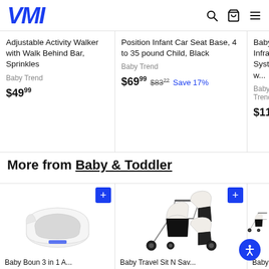VMI — navigation header with search, cart, and menu icons
Adjustable Activity Walker with Walk Behind Bar, Sprinkles
Baby Trend
$49.99
Position Infant Car Seat Base, 4 to 35 pound Child, Black
Baby Trend
$69.99 $83.22 Save 17%
Baby Infra System w...
Baby Trend
$117.99
More from Baby & Toddler
[Figure (photo): White baby bathtub product photo on white background]
[Figure (photo): Black and white double stroller travel system with two infant car seats]
[Figure (photo): Partial view of black stroller/travel system, cropped at right edge]
Baby Boun 3 in 1 A...
Baby Travel Sit N Sav...
Baby T...